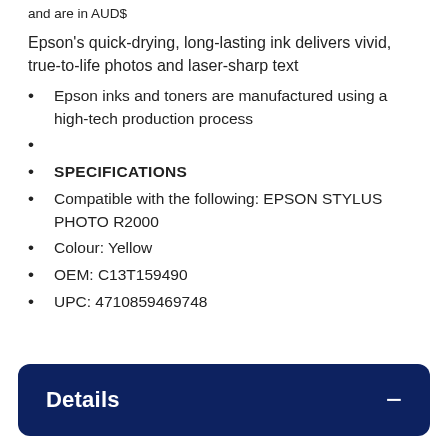and are in AUD$
Epson's quick-drying, long-lasting ink delivers vivid, true-to-life photos and laser-sharp text
Epson inks and toners are manufactured using a high-tech production process
SPECIFICATIONS
Compatible with the following: EPSON STYLUS PHOTO R2000
Colour: Yellow
OEM: C13T159490
UPC: 4710859469748
Details